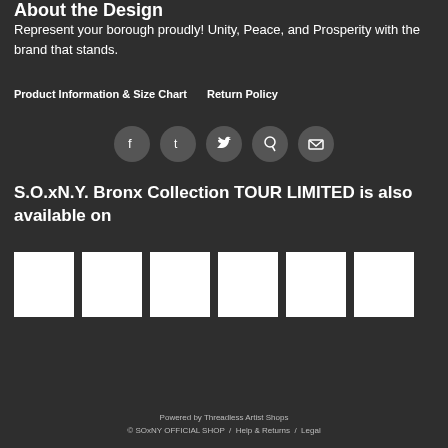About the Design
Represent your borough proudly! Unity, Peace, and Prosperity with the brand that stands.
Product Information & Size Chart     Return Policy
[Figure (infographic): Row of 5 social media share icons (Facebook, Tumblr, Twitter, Pinterest, Email) as dark circular buttons on dark background]
S.O.xN.Y. Bronx Collection TOUR LIMITED is also available on
[Figure (infographic): Row of 6 white square product thumbnail images]
Powered by Threadless Artist Shops
© SOxNY OFFICIAL SHOP  /  Help & Returns  /  Legal